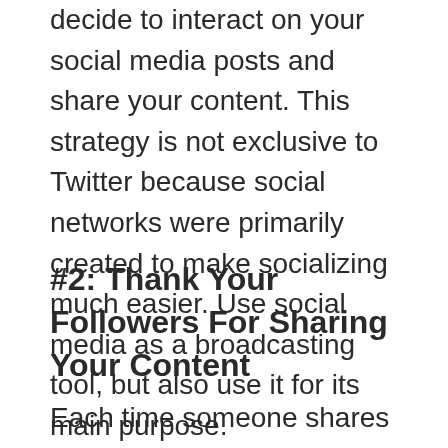decide to interact on your social media posts and share your content. This strategy is not exclusive to Twitter because social networks were primarily created to make socializing much easier. Use social media as a broadcasting tool, but also use it for its main purpose.
#2: Thank Your Followers For Sharing Your Content
Each time someone shares one of my blog posts on a social network, I make it a point to